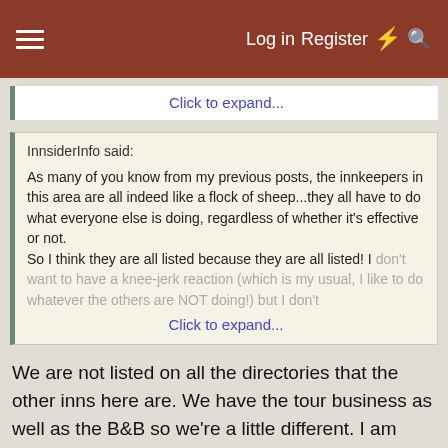☰  Log in  Register  ⚡  🔍
Click to expand...
InnsiderInfo said:
As many of you know from my previous posts, the innkeepers in this area are all indeed like a flock of sheep...they all have to do what everyone else is doing, regardless of whether it's effective or not.
So I think they are all listed because they are all listed! I don't want to have a knee-jerk reaction (which is my usual, I like to do whatever the others are NOT doing!) but I don't
Click to expand...
We are not listed on all the directories that the other inns here are. We have the tour business as well as the B&B so we're a little different. I am listed on those that come up on the first page of Google. But then again we get bookings from those who are looking for a wine tour as that website connects and displays the B&B.